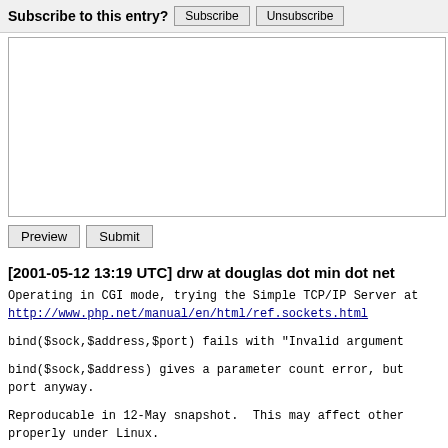Subscribe to this entry? [Subscribe] [Unsubscribe]
[text area input box]
[Preview] [Submit]
[2001-05-12 13:19 UTC] drw at douglas dot min dot net
Operating in CGI mode, trying the Simple TCP/IP Server at http://www.php.net/manual/en/html/ref.sockets.html

bind($sock,$address,$port) fails with "Invalid argument

bind($sock,$address) gives a parameter count error, but port anyway.

Reproducable in 12-May snapshot.  This may affect other properly under Linux.